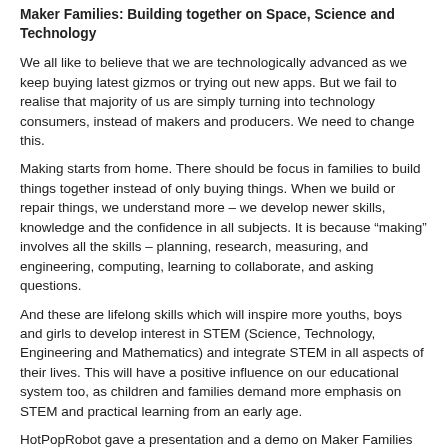Maker Families: Building together on Space, Science and Technology
We all like to believe that we are technologically advanced as we keep buying latest gizmos or trying out new apps. But we fail to realise that majority of us are simply turning into technology consumers, instead of makers and producers. We need to change this.
Making starts from home. There should be focus in families to build things together instead of only buying things. When we build or repair things, we understand more – we develop newer skills, knowledge and the confidence in all subjects. It is because “making” involves all the skills – planning, research, measuring, and engineering, computing, learning to collaborate, and asking questions.
And these are lifelong skills which will inspire more youths, boys and girls to develop interest in STEM (Science, Technology, Engineering and Mathematics) and integrate STEM in all aspects of their lives. This will have a positive influence on our educational system too, as children and families demand more emphasis on STEM and practical learning from an early age.
HotPopRobot gave a presentation and a demo on Maker Families including Galactic Bot at the upcoming International Space Development Conference 2015 in Toronto on Friday May 22, 2015.